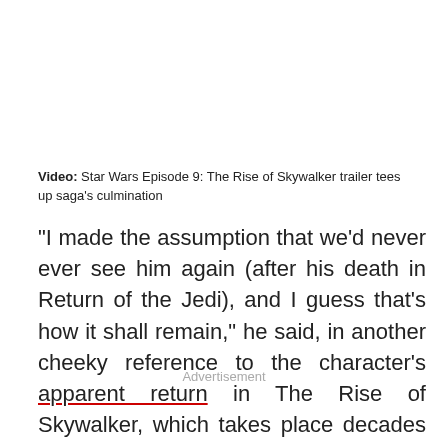Video: Star Wars Episode 9: The Rise of Skywalker trailer tees up saga's culmination
"I made the assumption that we'd never ever see him again (after his death in Return of the Jedi), and I guess that's how it shall remain," he said, in another cheeky reference to the character's apparent return in The Rise of Skywalker, which takes place decades later.
Advertisement